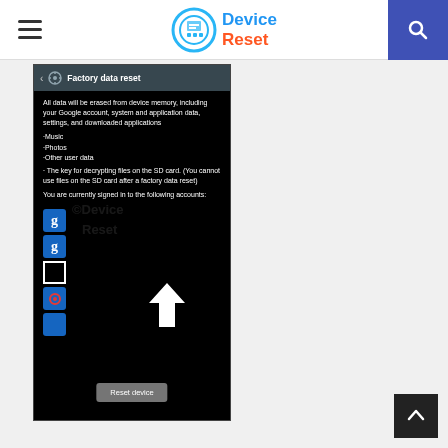Device Reset
[Figure (screenshot): Android Factory data reset screen showing options to erase all data including Google account, system and application data, settings, downloaded applications, Music, Photos, Other user data, and the key for decrypting files on the SD card. Shows accounts signed in and a 'Reset device' button at the bottom.]